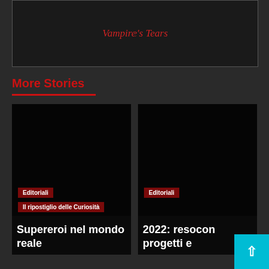Vampire's Tears
More Stories
[Figure (photo): Dark image card with 'Editoriali' badge and 'Il ripostiglio delle Curiosità' title overlay]
Supereroi nel mondo reale
[Figure (photo): Dark image card with 'Editoriali' badge]
2022: resocon[to] progetti e